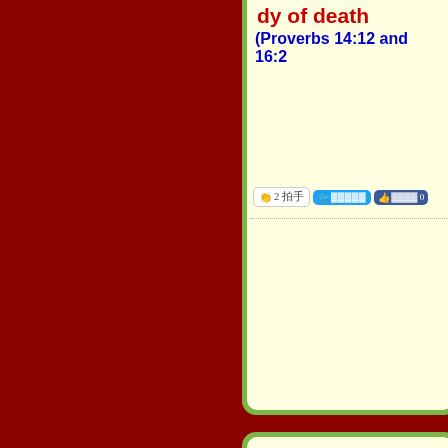dy of death
(Proverbs 14:12 and 16:2
[Figure (screenshot): Social sharing buttons: clapping hands button showing '2 拍手', Twitter share button, Facebook like button showing 'ถูกใจ 0']
ผู้เขียน & ผู้แปล (Thai section header with asterisk icon)
Multiple lines of Thai script text forming a paragraph block